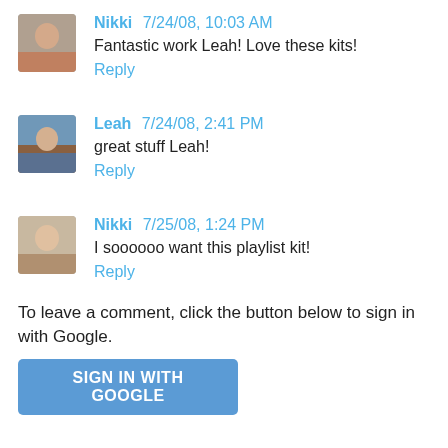[Figure (photo): Avatar photo of Nikki, a woman]
Nikki 7/24/08, 10:03 AM
Fantastic work Leah! Love these kits!
Reply
[Figure (photo): Avatar photo of Leah, a person outdoors]
Leah 7/24/08, 2:41 PM
great stuff Leah!
Reply
[Figure (photo): Avatar photo of Nikki, a woman]
Nikki 7/25/08, 1:24 PM
I soooooo want this playlist kit!
Reply
To leave a comment, click the button below to sign in with Google.
SIGN IN WITH GOOGLE